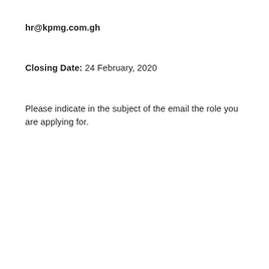hr@kpmg.com.gh
Closing Date: 24 February, 2020
Please indicate in the subject of the email the role you are applying for.